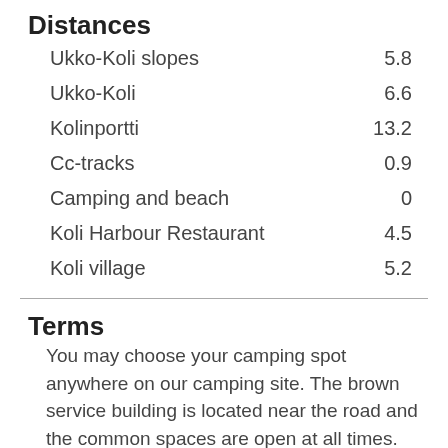Distances
| Location | Distance |
| --- | --- |
| Ukko-Koli slopes | 5.8 |
| Ukko-Koli | 6.6 |
| Kolinportti | 13.2 |
| Cc-tracks | 0.9 |
| Camping and beach | 0 |
| Koli Harbour Restaurant | 4.5 |
| Koli village | 5.2 |
Terms
You may choose your camping spot anywhere on our camping site. The brown service building is located near the road and the common spaces are open at all times.
Please be tidy and avoid noice between 10pm and 7am.